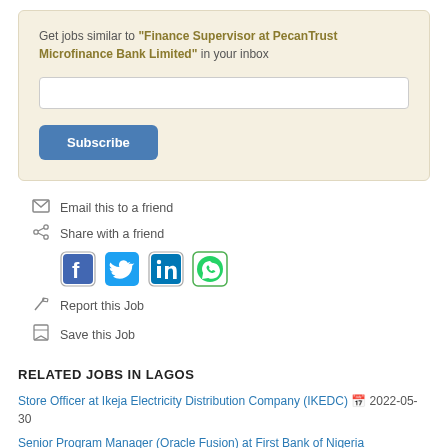Get jobs similar to "Finance Supervisor at PecanTrust Microfinance Bank Limited" in your inbox
Subscribe
Email this to a friend
Share with a friend
[Figure (other): Social share icons: Facebook, Twitter, LinkedIn, WhatsApp]
Report this Job
Save this Job
RELATED JOBS IN LAGOS
Store Officer at Ikeja Electricity Distribution Company (IKEDC) 2022-05-30
Senior Program Manager (Oracle Fusion) at First Bank of Nigeria